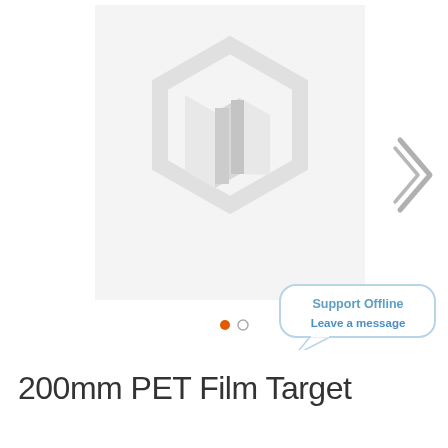[Figure (screenshot): Product image placeholder showing a Magento-style hexagonal logo watermark in light gray on a white/light gray background. A right-pointing chevron arrow is visible on the right side for image carousel navigation. Two navigation dots are shown below the image (one orange/filled, one gray/empty).]
200mm PET Film Target